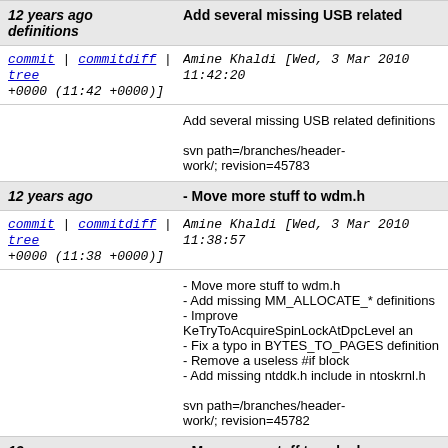12 years ago definitions | Add several missing USB related
commit | commitdiff | tree Amine Khaldi [Wed, 3 Mar 2010 11:42:20 +0000 (11:42 +0000)]
Add several missing USB related definitions

svn path=/branches/header-work/; revision=45783
12 years ago | - Move more stuff to wdm.h
commit | commitdiff | tree Amine Khaldi [Wed, 3 Mar 2010 11:38:57 +0000 (11:38 +0000)]
- Move more stuff to wdm.h
- Add missing MM_ALLOCATE_* definitions
- Improve KeTryToAcquireSpinLockAtDpcLevel an
- Fix a typo in BYTES_TO_PAGES definition
- Remove a useless #if block
- Add missing ntddk.h include in ntoskrnl.h

svn path=/branches/header-work/; revision=45782
12 years ago | - Move more stuff to wdm.h